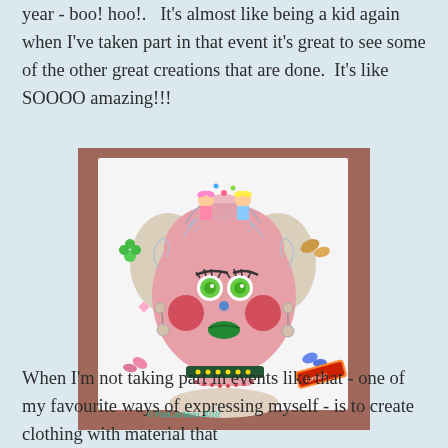year - boo! hoo!.   It's almost like being a kid again when I've taken part in that event it's great to see some of the other great creations that are done.  It's like SOOOO amazing!!!
[Figure (photo): A whimsical mixed-media artwork showing a stylized woman's face with wild curly hair, green eyes, red cheeks, and green lips, decorated with small dolls, butterflies, flowers, and a candy bar. Watermarked '© FatCatAnna 2010'.]
When I'm not taking part in events like that - one of my favourite ways of expressing myself - is to create clothing with material that